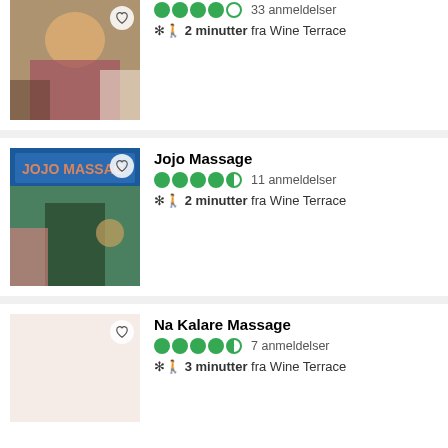[Figure (photo): Massage scene with people, partial view]
33 anmeldelser
2 minutter fra Wine Terrace
Jojo Massage
[Figure (photo): Jojo Massage storefront with blue sign, entrance visible]
11 anmeldelser
2 minutter fra Wine Terrace
Na Kalare Massage
[Figure (photo): Placeholder image with light pink background]
7 anmeldelser
3 minutter fra Wine Terrace